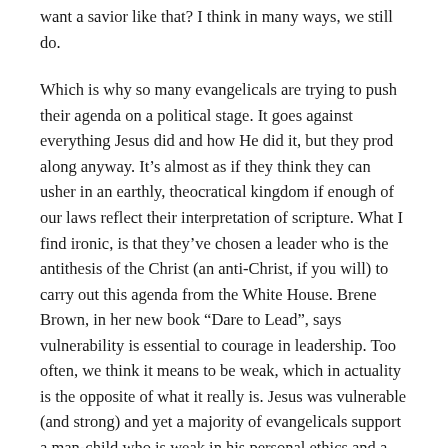want a savior like that? I think in many ways, we still do.
Which is why so many evangelicals are trying to push their agenda on a political stage. It goes against everything Jesus did and how He did it, but they prod along anyway. It's almost as if they think they can usher in an earthly, theocratical kingdom if enough of our laws reflect their interpretation of scripture. What I find ironic, is that they've chosen a leader who is the antithesis of the Christ (an anti-Christ, if you will) to carry out this agenda from the White House. Brene Brown, in her new book “Dare to Lead”, says vulnerability is essential to courage in leadership. Too often, we think it means to be weak, which in actuality is the opposite of what it really is. Jesus was vulnerable (and strong) and yet a majority of evangelicals support a man-child who is weak in his personal ethics and a bully.
Let’s be clear: the people of Jesus’ day wanted an earthly kingdom too. But that is not what Jesus came to establish.